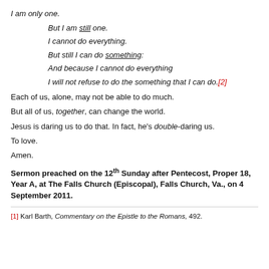I am only one.
But I am still one.
I cannot do everything.
But still I can do something:
And because I cannot do everything
I will not refuse to do the something that I can do.[2]
Each of us, alone, may not be able to do much.
But all of us, together, can change the world.
Jesus is daring us to do that. In fact, he's double-daring us.
To love.
Amen.
Sermon preached on the 12th Sunday after Pentecost, Proper 18, Year A, at The Falls Church (Episcopal), Falls Church, Va., on 4 September 2011.
[1] Karl Barth, Commentary on the Epistle to the Romans, 492.